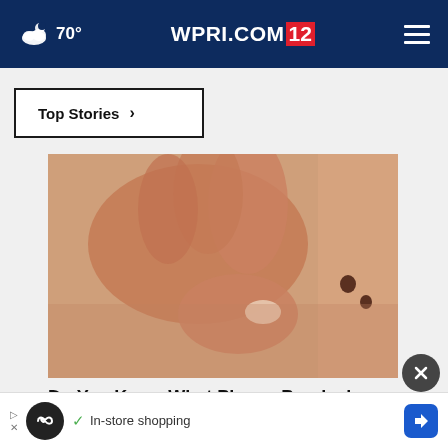70° WPRI.COM 12
Top Stories >
[Figure (photo): Close-up photo of a hand pinching skin with a small dark mole or lesion visible, associated with plaque psoriasis article]
Do You Know What Plaque Psoriasis Is? (Take a Look)
In-store shopping